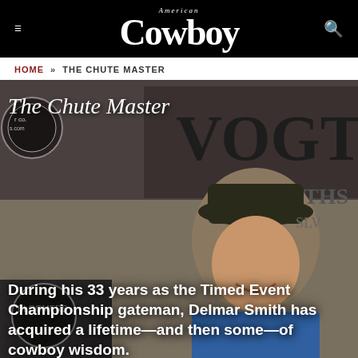American Cowboy
Home » The Chute Master
[Figure (photo): Man in black cowboy hat smiling, background shows rodeo/western signage including 'Vogt' and 'Bloomers' branding]
The Chute Master
During his 33 years as the Timed Event Championship gateman, Delmar Smith has acquired a lifetime—and then some—of cowboy wisdom.